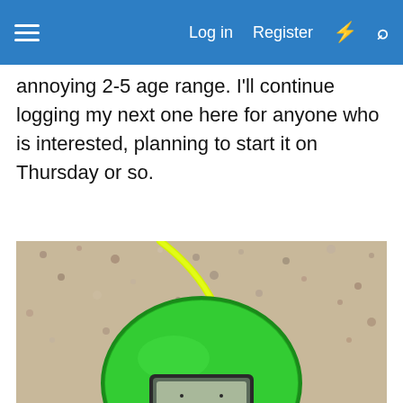Log in  Register
annoying 2-5 age range. I'll continue logging my next one here for anyone who is interested, planning to start it on Thursday or so.
[Figure (photo): Close-up photo of a green Tamagotchi or similar handheld electronic toy/game device with a neon yellow cord/lanyard, placed on a speckled stone or concrete surface. The device has a small LCD screen visible at the bottom.]